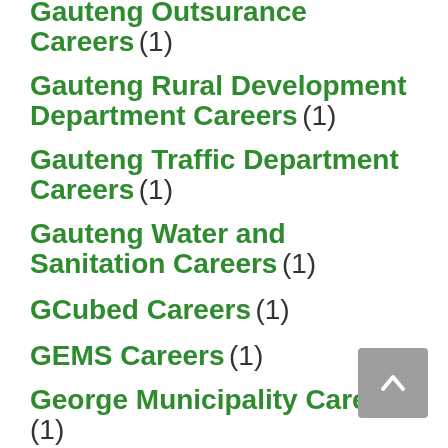Gauteng Outsurance Careers (1)
Gauteng Rural Development Department Careers (1)
Gauteng Traffic Department Careers (1)
Gauteng Water and Sanitation Careers (1)
GCubed Careers (1)
GEMS Careers (1)
George Municipality Careers (1)
GEOTECH Careers (2)
Gibela Careers (1)
Gijima Holdings Careers (1)
Gilbarco Careers (1)
Glasshouse Recruiting Careers (1)
Glencore Careers (1)